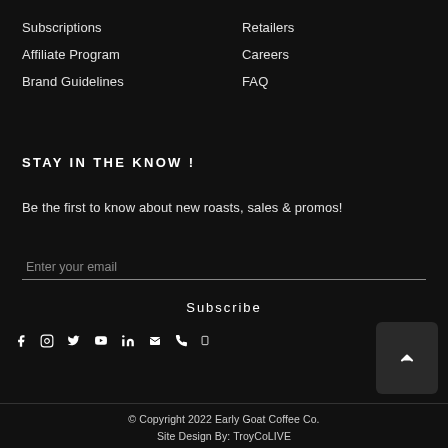Subscriptions
Retailers
Affiliate Program
Careers
Brand Guidelines
FAQ
STAY IN THE KNOW !
Be the first to know about new roasts, sales & promos!
Enter your email
Subscribe
[Figure (infographic): Social media icons row: Facebook, Instagram, Twitter, YouTube, LinkedIn, Email, Phone, Mobile]
© Copyright 2022 Early Goat Coffee Co.
Site Design By: TroyCoLIVE